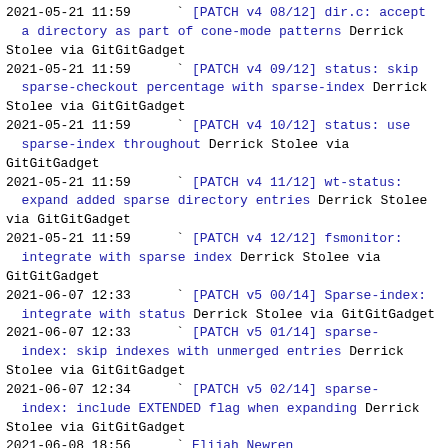2021-05-21 11:59    ` [PATCH v4 08/12] dir.c: accept a directory as part of cone-mode patterns Derrick Stolee via GitGitGadget
2021-05-21 11:59    ` [PATCH v4 09/12] status: skip sparse-checkout percentage with sparse-index Derrick Stolee via GitGitGadget
2021-05-21 11:59    ` [PATCH v4 10/12] status: use sparse-index throughout Derrick Stolee via GitGitGadget
2021-05-21 11:59    ` [PATCH v4 11/12] wt-status: expand added sparse directory entries Derrick Stolee via GitGitGadget
2021-05-21 11:59    ` [PATCH v4 12/12] fsmonitor: integrate with sparse index Derrick Stolee via GitGitGadget
2021-06-07 12:33    ` [PATCH v5 00/14] Sparse-index: integrate with status Derrick Stolee via GitGitGadget
2021-06-07 12:33    ` [PATCH v5 01/14] sparse-index: skip indexes with unmerged entries Derrick Stolee via GitGitGadget
2021-06-07 12:34    ` [PATCH v5 02/14] sparse-index: include EXTENDED flag when expanding Derrick Stolee via GitGitGadget
2021-06-08 18:56    ` Elijah Newren
2021-06-09 17:39    ` Derrick Stolee
2021-06-09 18:11    ` Elijah Newren
2021-06-07 12:34    ` [PATCH v5 03/14] t1092: replace incorrect 'echo' with 'cat' Derrick Stolee via GitGitGadget
2021-06-08 19:18    ` Elijah Newren
2021-06-07 12:34    ` [PATCH v5 04/14] t1092: